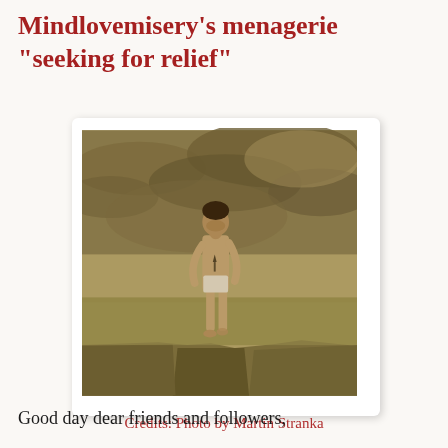Mindlovemisery's menagerie "seeking for relief"
[Figure (photo): A sepia-toned photograph of a slim young person standing at the edge of a cliff in underwear, head bowed, with dramatic cloudy sky in the background. Style is dark and moody. Appears to be art photography.]
Credits: Photo by Martin Stranka
Good day dear friends and followers,